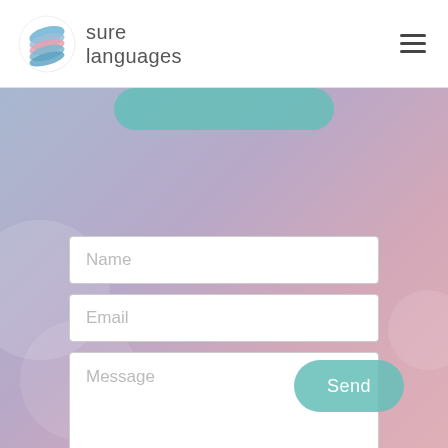sure languages
[Figure (screenshot): Contact form on a gradient blue-pink background with Name, Email, Message fields and a Send button]
Name
Email
Message
Send